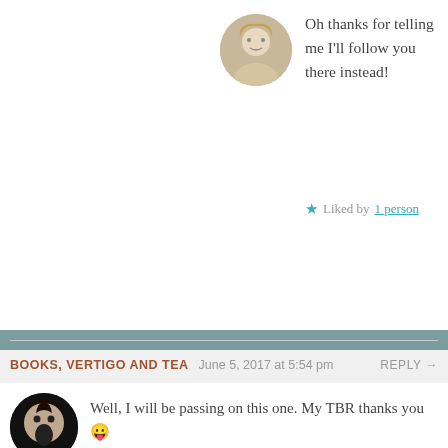Oh thanks for telling me I'll follow you there instead!
★ Liked by 1 person
BOOKS, VERTIGO AND TEA   June 5, 2017 at 5:54 pm   REPLY →
Well, I will be passing on this one. My TBR thanks you 😛
★ Liked by 1 person
NOVELGOSSIP   June 5, 2017 at 6:21 pm   REPLY →
Haha I do my best!